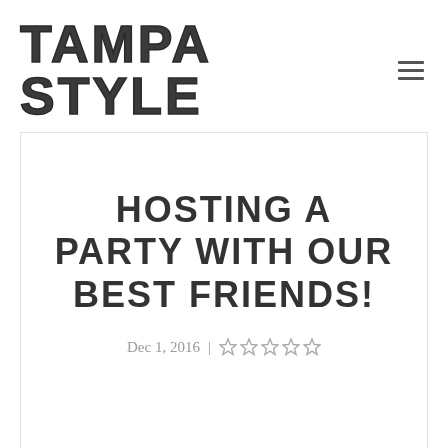TAMPA STYLE
HOSTING A PARTY WITH OUR BEST FRIENDS!
Dec 1, 2016 | ★★★★★